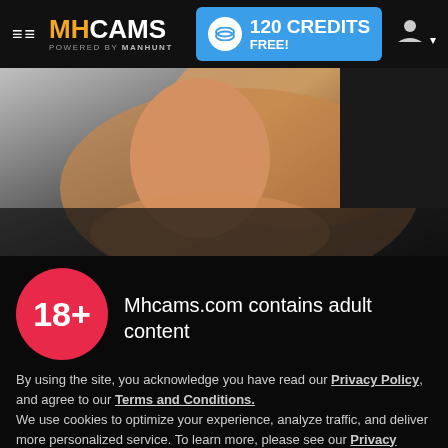MHCAMS POWERED BY MANHUNT | 120 CREDITS FREE!
[Figure (photo): Young smiling man lying down, shirtless, arm raised behind head, photo background for adult webcam site]
18+
Mhcams.com contains adult content
By using the site, you acknowledge you have read our Privacy Policy, and agree to our Terms and Conditions.
We use cookies to optimize your experience, analyze traffic, and deliver more personalized service. To learn more, please see our Privacy Policy.
I AGREE